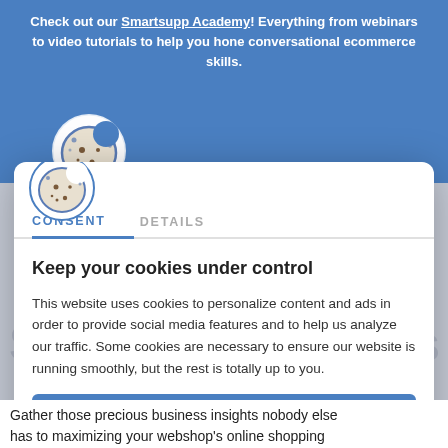Check out our Smartsupp Academy! Everything from webinars to video tutorials to help you hone conversational ecommerce skills.
[Figure (screenshot): Smartsupp website screenshot showing cookie consent dialog overlay on a blue background with the Smartsupp logo, navigation, and background text about video recordings and blind spots.]
CONSENT | DETAILS
Keep your cookies under control
This website uses cookies to personalize content and ads in order to provide social media features and to help us analyze our traffic. Some cookies are necessary to ensure our website is running smoothly, but the rest is totally up to you.
Gather those precious business insights nobody else has to maximizing your webshop's online shopping